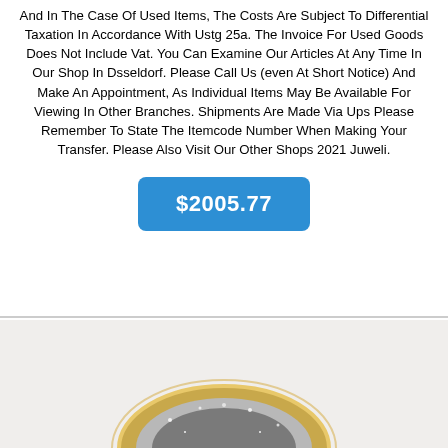And In The Case Of Used Items, The Costs Are Subject To Differential Taxation In Accordance With Ustg 25a. The Invoice For Used Goods Does Not Include Vat. You Can Examine Our Articles At Any Time In Our Shop In Dsseldorf. Please Call Us (even At Short Notice) And Make An Appointment, As Individual Items May Be Available For Viewing In Other Branches. Shipments Are Made Via Ups Please Remember To State The Itemcode Number When Making Your Transfer. Please Also Visit Our Other Shops 2021 Juweli.
$2005.77
[Figure (photo): Partial view of a gold jewelry item (appears to be a brooch or ring) with glittery/diamond-encrusted details on a light background.]